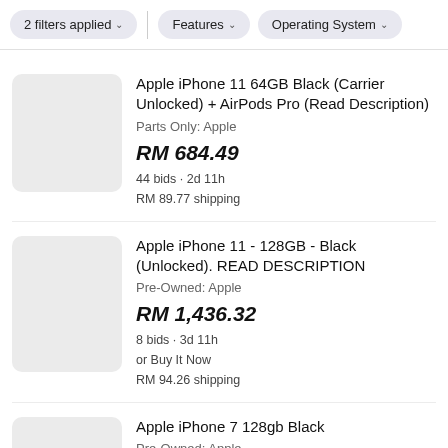2 filters applied  Features  Operating System
Apple iPhone 11 64GB Black (Carrier Unlocked) + AirPods Pro (Read Description)
Parts Only: Apple
RM 684.49
44 bids · 2d 11h
RM 89.77 shipping
Apple iPhone 11 - 128GB - Black (Unlocked). READ DESCRIPTION
Pre-Owned: Apple
RM 1,436.32
8 bids · 3d 11h
or Buy It Now
RM 94.26 shipping
Apple iPhone 7 128gb Black
Pre-Owned: Apple